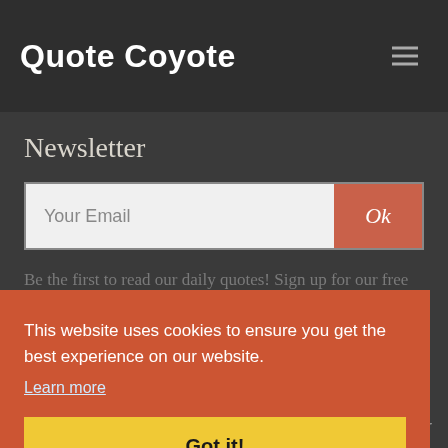Quote Coyote
Newsletter
Your Email
Ok
Be the first to read our daily quotes! Sign up for our free newsletter!
This website uses cookies to ensure you get the best experience on our website.
Learn more
Got it!
laimer